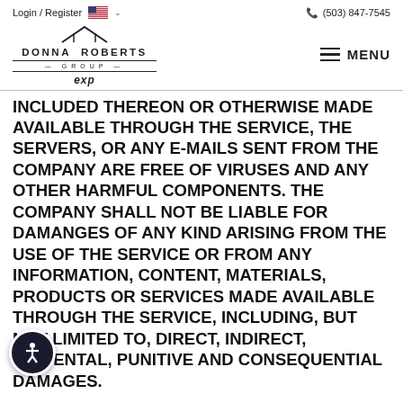Login / Register  (503) 847-7545
[Figure (logo): Donna Roberts Group eXp Realty logo with roof graphic and MENU button]
INCLUDED THEREON OR OTHERWISE MADE AVAILABLE THROUGH THE SERVICE, THE SERVERS, OR ANY E-MAILS SENT FROM THE COMPANY ARE FREE OF VIRUSES AND ANY OTHER HARMFUL COMPONENTS. THE COMPANY SHALL NOT BE LIABLE FOR DAMANGES OF ANY KIND ARISING FROM THE USE OF THE SERVICE OR FROM ANY INFORMATION, CONTENT, MATERIALS, PRODUCTS OR SERVICES MADE AVAILABLE THROUGH THE SERVICE, INCLUDING, BUT NOT LIMITED TO, DIRECT, INDIRECT, INCIDENTAL, PUNITIVE AND CONSEQUENTIAL DAMAGES.